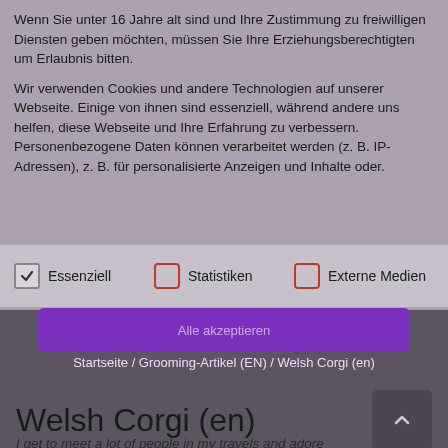Wenn Sie unter 16 Jahre alt sind und Ihre Zustimmung zu freiwilligen Diensten geben möchten, müssen Sie Ihre Erziehungsberechtigten um Erlaubnis bitten.
Wir verwenden Cookies und andere Technologien auf unserer Webseite. Einige von ihnen sind essenziell, während andere uns helfen, diese Webseite und Ihre Erfahrung zu verbessern. Personenbezogene Daten können verarbeitet werden (z. B. IP-Adressen), z. B. für personalisierte Anzeigen und Inhalte oder.
Essenziell
Statistiken
Externe Medien
Alle akzeptieren
Startseite / Grooming-Artikel (EN) / Welsh Corgi (en)
Welsh Corgi (en)
I get to meet a lot of people in my travels and adore